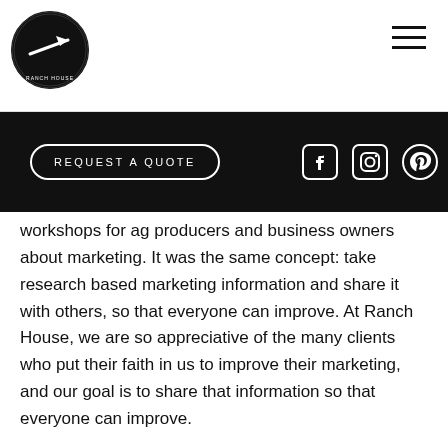[Figure (logo): Ranch House circular logo with arrow/design element, black circle with white graphic]
REQUEST A QUOTE | Facebook | Instagram | Pinterest icons
workshops for ag producers and business owners about marketing. It was the same concept: take research based marketing information and share it with others, so that everyone can improve. At Ranch House, we are so appreciative of the many clients who put their faith in us to improve their marketing, and our goal is to share that information so that everyone can improve.
Through the years we have hosted so many great workshops. We started out with our first workshop here in Wharton, then went to Fort